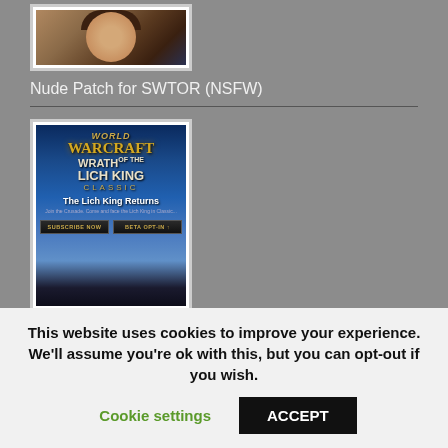[Figure (photo): Partial thumbnail of a person's face/head photo]
Nude Patch for SWTOR (NSFW)
[Figure (screenshot): World of Warcraft: Wrath of the Lich King Classic advertisement banner showing 'The Lich King Returns' with Subscribe Now and Beta Opt-In buttons]
WoW Wrath of the Lich King Classic Beta
[Figure (photo): Partial thumbnail of playing cards with red backs]
This website uses cookies to improve your experience. We'll assume you're ok with this, but you can opt-out if you wish.
Cookie settings
ACCEPT